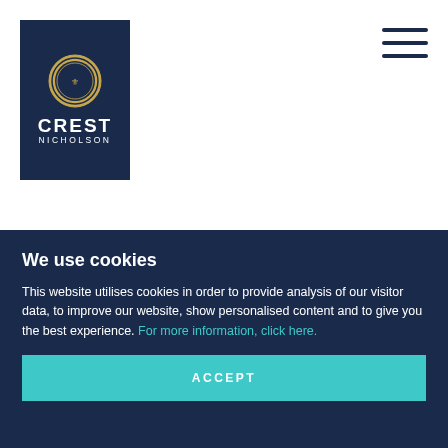[Figure (logo): Crest Nicholson logo: dark navy blue rectangle with circular gold emblem above the text CREST NICHOLSON in white uppercase letters]
[Figure (other): Hamburger menu icon: three horizontal dark navy lines]
TRENT
LANGFORD FIELDS · BRISTOL · BS40 5EL
We use cookies
This website utilises cookies in order to provide analysis of our visitor data, to improve our website, show personalised content and to give you the best experience. For more information, click here.
ACCEPT